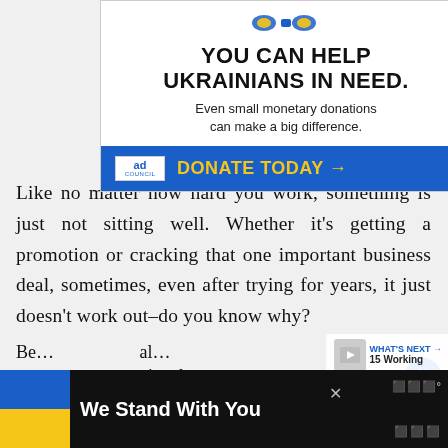[Figure (screenshot): Ad banner: YOU CAN HELP UKRAINIANS IN NEED. Even small monetary donations can make a big difference. Ad Council / DONATE TODAY →]
Like no matter how hard you work, something is just not sitting well. Whether it's getting a promotion or cracking that one important business deal, sometimes, even after trying for years, it just doesn't work out–do you know why?
[Figure (screenshot): Bottom overlay banner: We Stand With You with Ukraine flag colors]
Be… th… b… … … … … al… pr… … … … ional.